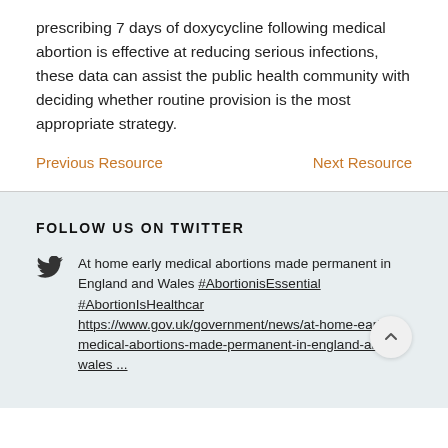prescribing 7 days of doxycycline following medical abortion is effective at reducing serious infections, these data can assist the public health community with deciding whether routine provision is the most appropriate strategy.
Previous Resource    Next Resource
FOLLOW US ON TWITTER
At home early medical abortions made permanent in England and Wales #AbortionisEssential #AbortionIsHealthcar https://www.gov.uk/government/news/at-home-earl, medical-abortions-made-permanent-in-england-and-wales ...